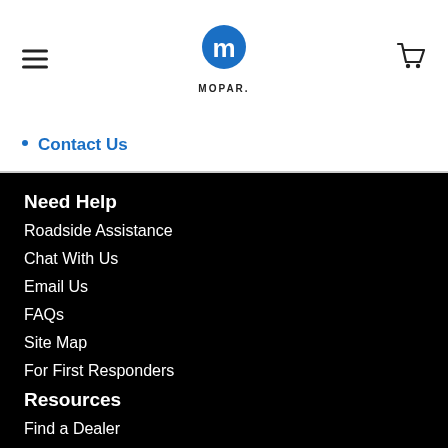[Figure (logo): Mopar logo with hamburger menu icon on left and shopping cart icon on right in white header navigation bar]
Contact Us
Need Help
Roadside Assistance
Chat With Us
Email Us
FAQs
Site Map
For First Responders
Resources
Find a Dealer
Recalls
Owner's Apps
Owner's Manual
Maintenance Schedule